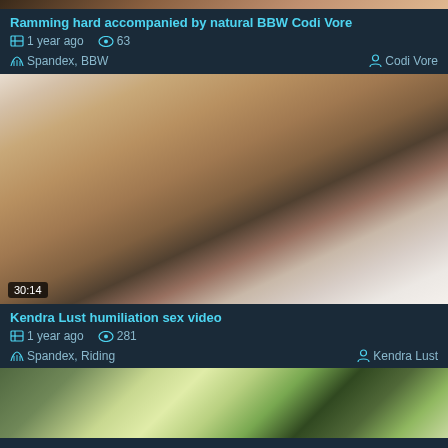[Figure (photo): Top partial thumbnail of first video]
Ramming hard accompanied by natural BBW Codi Vore
1 year ago  63
Spandex,  BBW    Codi Vore
[Figure (photo): Video thumbnail showing two people, duration 30:14]
Kendra Lust humiliation sex video
1 year ago  281
Spandex,  Riding    Kendra Lust
[Figure (photo): Bottom partial thumbnail of third video showing blonde person outdoors]